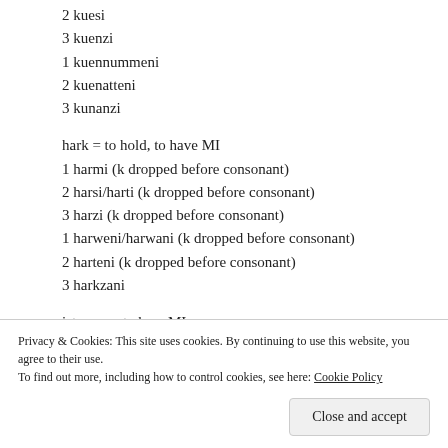2 kuesi
3 kuenzi
1 kuennummeni
2 kuenatteni
3 kunanzi
hark = to hold, to have MI
1 harmi (k dropped before consonant)
2 harsi/harti (k dropped before consonant)
3 harzi (k dropped before consonant)
1 harweni/harwani (k dropped before consonant)
2 harteni (k dropped before consonant)
3 harkzani
istamas = to hear MI
1 istamasmi
Privacy & Cookies: This site uses cookies. By continuing to use this website, you agree to their use.
To find out more, including how to control cookies, see here: Cookie Policy
Close and accept